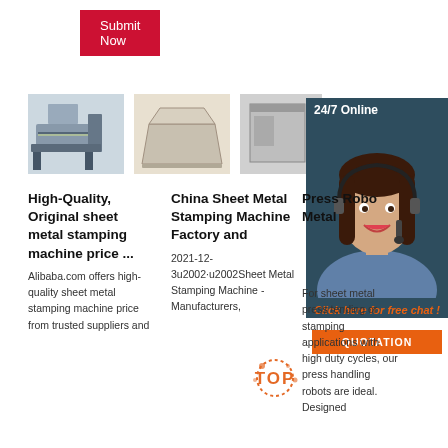Submit Now
[Figure (photo): Three product images: sheet metal stamping machine, metal tray/container, and metal box/enclosure panel]
24/7 Online
[Figure (photo): Customer service representative woman with headset smiling, on dark teal background with 24/7 Online banner]
Click here for free chat !
QUOTATION
High-Quality, Original sheet metal stamping machine price ...
Alibaba.com offers high-quality sheet metal stamping machine price from trusted suppliers and
China Sheet Metal Stamping Machine Factory and
2021-12-3u2002·u2002Sheet Metal Stamping Machine - Manufacturers,
Press Robo Metal
For sheet metal press tending or stamping applications with high duty cycles, our press handling robots are ideal. Designed